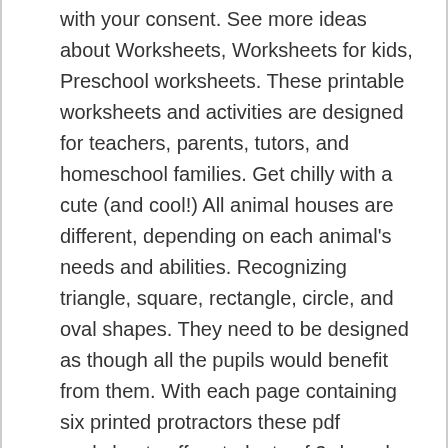with your consent. See more ideas about Worksheets, Worksheets for kids, Preschool worksheets. These printable worksheets and activities are designed for teachers, parents, tutors, and homeschool families. Get chilly with a cute (and cool!) All animal houses are different, depending on each animal's needs and abilities. Recognizing triangle, square, rectangle, circle, and oval shapes. They need to be designed as though all the pupils would benefit from them. With each page containing six printed protractors these pdf worksheets offer students of 3rd grade and 4th grade tremendous preparation material for drawing angles with 1 degree increment. Common Core » 1st Grade English Language Arts Standards » Reading: Literature » Key Ideas and Details » RL.1.2 RL.1.7 - Common Core ID. Easy Counting Worksheets for Toddlers and 3-5 Years